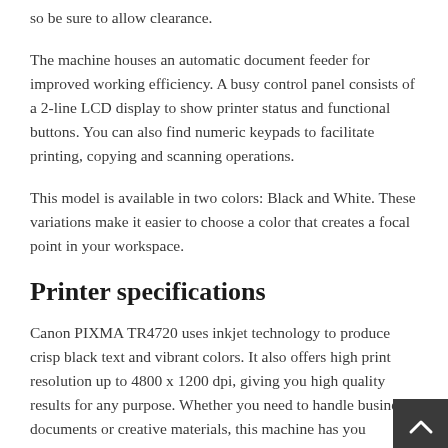so be sure to allow clearance.
The machine houses an automatic document feeder for improved working efficiency. A busy control panel consists of a 2-line LCD display to show printer status and functional buttons. You can also find numeric keypads to facilitate printing, copying and scanning operations.
This model is available in two colors: Black and White. These variations make it easier to choose a color that creates a focal point in your workspace.
Printer specifications
Canon PIXMA TR4720 uses inkjet technology to produce crisp black text and vibrant colors. It also offers high print resolution up to 4800 x 1200 dpi, giving you high quality results for any purpose. Whether you need to handle business documents or creative materials, this machine has you covered.